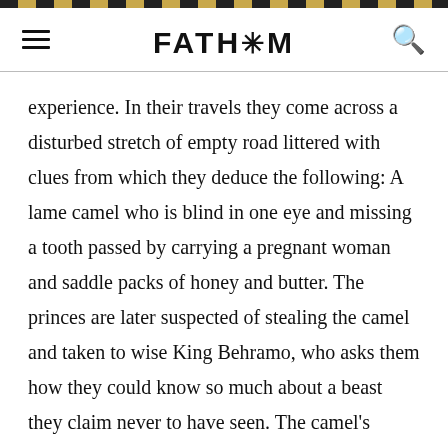FATH*M
experience. In their travels they come across a disturbed stretch of empty road littered with clues from which they deduce the following: A lame camel who is blind in one eye and missing a tooth passed by carrying a pregnant woman and saddle packs of honey and butter. The princes are later suspected of stealing the camel and taken to wise King Behramo, who asks them how they could know so much about a beast they claim never to have seen. The camel’s lameness, they say, is evidenced by a dragged hoofprint; the one-eyedness from grass having been eaten on but one